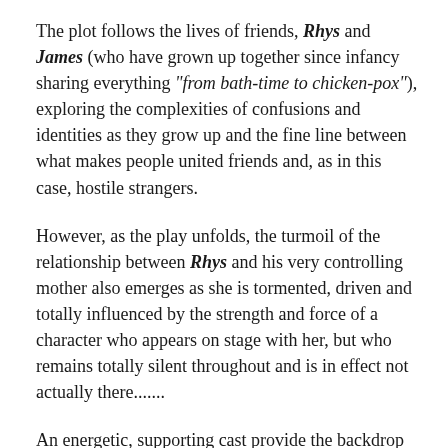The plot follows the lives of friends, Rhys and James (who have grown up together since infancy sharing everything "from bath-time to chicken-pox"), exploring the complexities of confusions and identities as they grow up and the fine line between what makes people united friends and, as in this case, hostile strangers.
However, as the play unfolds, the turmoil of the relationship between Rhys and his very controlling mother also emerges as she is tormented, driven and totally influenced by the strength and force of a character who appears on stage with her, but who remains totally silent throughout and is in effect not actually there.......
An energetic, supporting cast provide the backdrop for the principal characters in a series of situations that provide some very moving, some very comical and some very touching, thought-provoking moments – but it is up to the